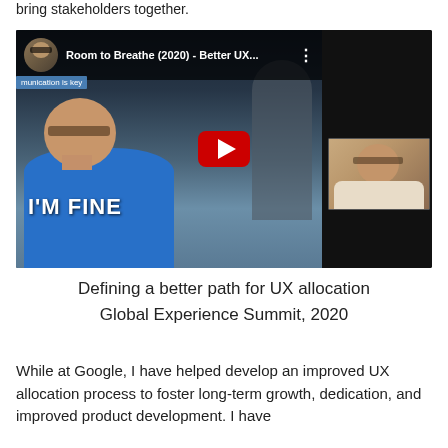bring stakeholders together.
[Figure (screenshot): YouTube video thumbnail showing 'Room to Breathe (2020) - Better UX...' with a child in a blue shirt with text 'I'M FINE' and a small video inset of a man on the right side.]
Defining a better path for UX allocation
Global Experience Summit, 2020
While at Google, I have helped develop an improved UX allocation process to foster long-term growth, dedication, and improved product development. I have